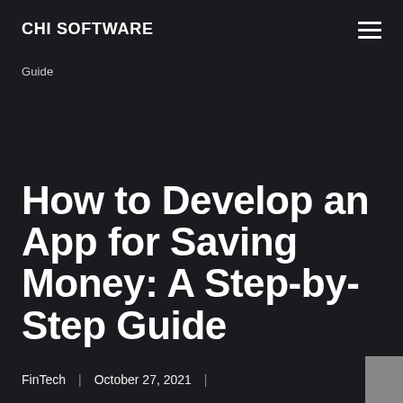CHI SOFTWARE
Guide
How to Develop an App for Saving Money: A Step-by-Step Guide
FinTech | October 27, 2021 |